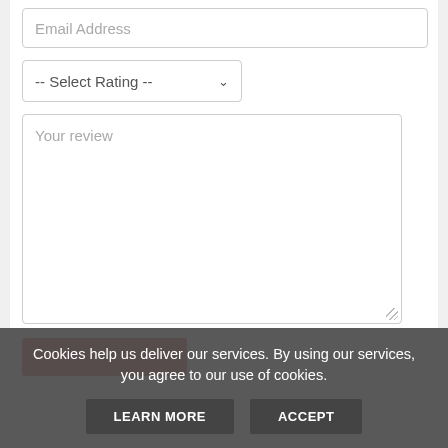[Figure (screenshot): Email address input field with placeholder text 'Email Address']
[Figure (screenshot): Dropdown select field with placeholder '-- Select Rating --' and dropdown arrow]
[Figure (screenshot): Large textarea with placeholder text 'Your review' and resize handle in bottom-right corner]
[Figure (screenshot): Red submit button, partially visible at bottom of form area]
Cookies help us deliver our services. By using our services, you agree to our use of cookies.
LEARN MORE
ACCEPT